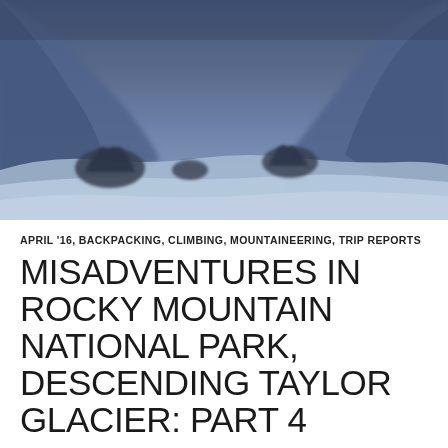[Figure (photo): A blue-tinted winter landscape photo showing a snowy mountain valley at dusk or dawn. Dark shrubs and brush are visible poking through the snow. The sky and hillsides are hazy and bluish-purple, suggesting low light conditions in a wintry alpine environment.]
APRIL '16, BACKPACKING, CLIMBING, MOUNTAINEERING, TRIP REPORTS
MISADVENTURES IN ROCKY MOUNTAIN NATIONAL PARK, DESCENDING TAYLOR GLACIER: PART 4
APRIL 28, 2016  7 COMMENTS